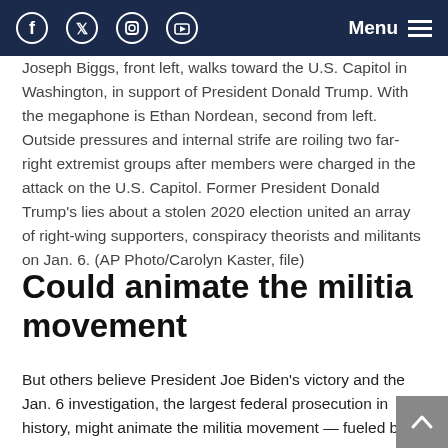Facebook Twitter Instagram YouTube Menu
Joseph Biggs, front left, walks toward the U.S. Capitol in Washington, in support of President Donald Trump. With the megaphone is Ethan Nordean, second from left. Outside pressures and internal strife are roiling two far-right extremist groups after members were charged in the attack on the U.S. Capitol. Former President Donald Trump's lies about a stolen 2020 election united an array of right-wing supporters, conspiracy theorists and militants on Jan. 6. (AP Photo/Carolyn Kaster, file)
Could animate the militia movement
But others believe President Joe Biden’s victory and the Jan. 6 investigation, the largest federal prosecution in history, might animate the militia movement — fueled by